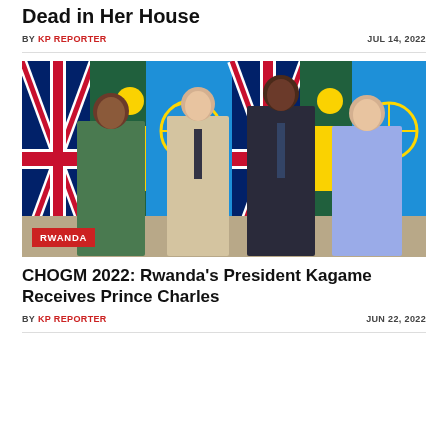Dead in Her House
BY KP REPORTER   JUL 14, 2022
[Figure (photo): Four people posing for a photo in front of flags including UK Union Jack, Rwanda flag, and Commonwealth flags. From left: a woman in green floral dress, a man in beige suit with striped tie, a tall man in dark suit, and a woman in blue patterned dress. Red badge overlay reading RWANDA.]
CHOGM 2022: Rwanda's President Kagame Receives Prince Charles
BY KP REPORTER   JUN 22, 2022